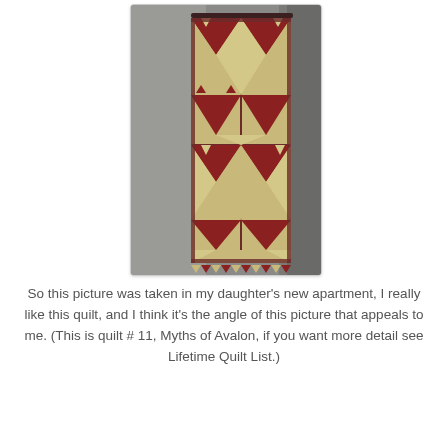[Figure (photo): A geometric quilt with red/maroon and cream/beige triangular and diamond patterns hung on a wall in an apartment room, photographed at an angle.]
So this picture was taken in my daughter's new apartment, I really like this quilt, and I think it's the angle of this picture that appeals to me. (This is quilt # 11, Myths of Avalon, if you want more detail see Lifetime Quilt List.)